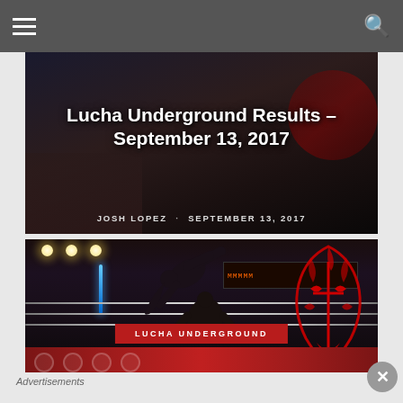Lucha Underground Results – September 13, 2017
JOSH LOPEZ · SEPTEMBER 13, 2017
[Figure (photo): Wrestling action photo from Lucha Underground show with fighter flying off ropes, Lucha Underground logo visible on right side, red ring barriers with masks at bottom]
LUCHA UNDERGROUND
Advertisements